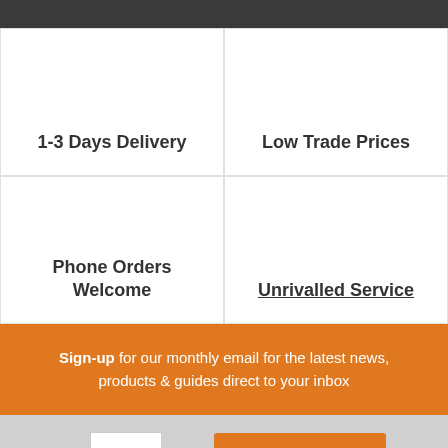[Figure (screenshot): Dark top navigation bar]
1-3 Days Delivery
Low Trade Prices
Phone Orders Welcome
Unrivalled Service
Sign-up for our monthly email for the latest news, products & guides direct to your inbox
Qty:  -  1  +  Add to Basket